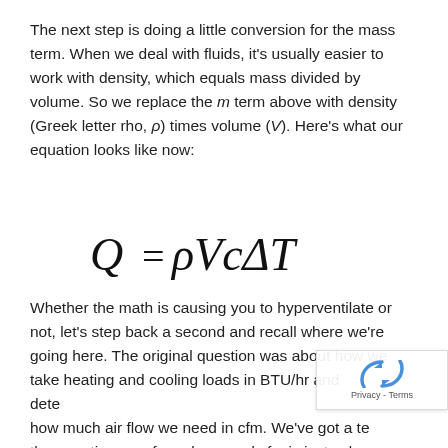The next step is doing a little conversion for the mass term. When we deal with fluids, it's usually easier to work with density, which equals mass divided by volume. So we replace the m term above with density (Greek letter rho, ρ) times volume (V). Here's what our equation looks like now:
Whether the math is causing you to hyperventilate or not, let's step back a second and recall where we're going here. The original question was about how we take heating and cooling loads in BTU/hr and dete[rmined] how much air flow we need in cfm. We've got a te[rm in] the equation now for volume and cfm is just volume